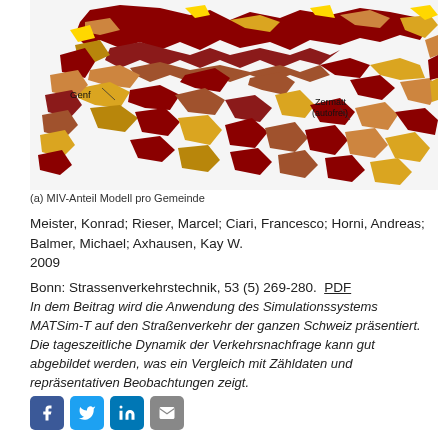[Figure (map): Choropleth map of Switzerland showing MIV-Anteil (share of motorized individual traffic) per municipality, colored in shades from light yellow to dark brown/red. Labels indicate 'Genf' (Geneva) on the left and 'Zermatt (autofrei)' toward the center-right.]
(a) MIV-Anteil Modell pro Gemeinde
Meister, Konrad; Rieser, Marcel; Ciari, Francesco; Horni, Andreas; Balmer, Michael; Axhausen, Kay W.
2009
Bonn: Strassenverkehrstechnik, 53 (5) 269-280.  PDF
In dem Beitrag wird die Anwendung des Simulationssystems MATSim-T auf den Straßenverkehr der ganzen Schweiz präsentiert. Die tageszeitliche Dynamik der Verkehrsnachfrage kann gut abgebildet werden, was ein Vergleich mit Zähldaten und repräsentativen Beobachtungen zeigt.
mehr